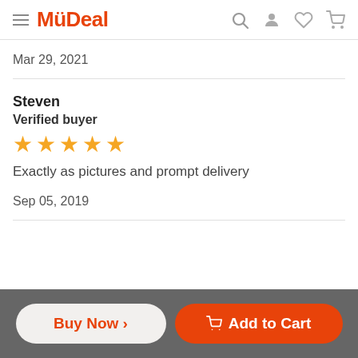MyDeal
Mar 29, 2021
Steven
Verified buyer
Exactly as pictures and prompt delivery
Sep 05, 2019
Buy Now > | Add to Cart